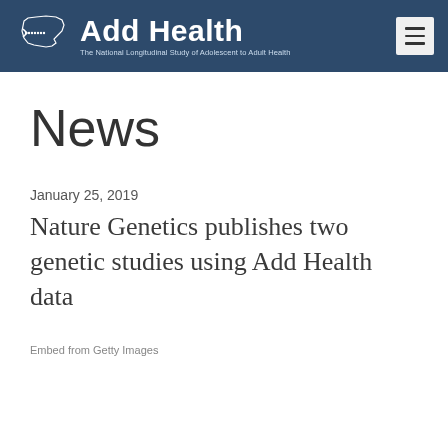Add Health — The National Longitudinal Study of Adolescent to Adult Health
News
January 25, 2019
Nature Genetics publishes two genetic studies using Add Health data
Embed from Getty Images